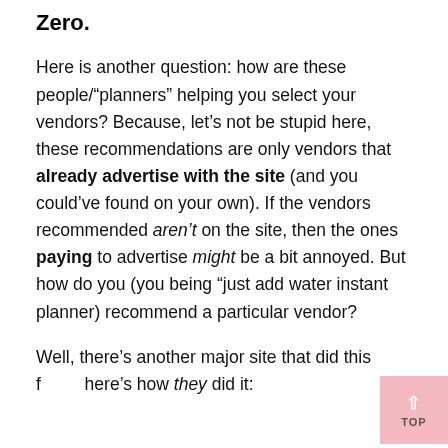Zero.
Here is another question: how are these people/"planners" helping you select your vendors? Because, let's not be stupid here, these recommendations are only vendors that already advertise with the site (and you could've found on your own). If the vendors recommended aren't on the site, then the ones paying to advertise might be a bit annoyed. But how do you (you being "just add water instant planner) recommend a particular vendor?
Well, there's another major site that did this f[...] here's how they did it: